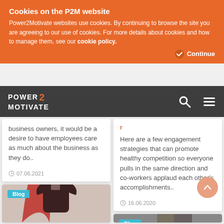Cookies on the P2M website
Power2Motivate websites use cookies. By continuing to browse the site you are agreeing to our use of cookies. For more details about cookies and how to manage them, see our cookie policy.
Continue
POWER 2 MOTIVATE
business owners, it would be a desire to have employees care as much about the business as they do..
07.06.2021
[Figure (photo): Blog card with image of man in dark suit with red cape, arms crossed. Blog tag label in teal.]
Here are a few engagement strategies that can promote healthy competition so everyone pulls in the same direction and co-workers applaud each other's accomplishments..
16.06.2020
[Figure (photo): Blog card with image of two people, partially visible. Blog tag label in teal.]